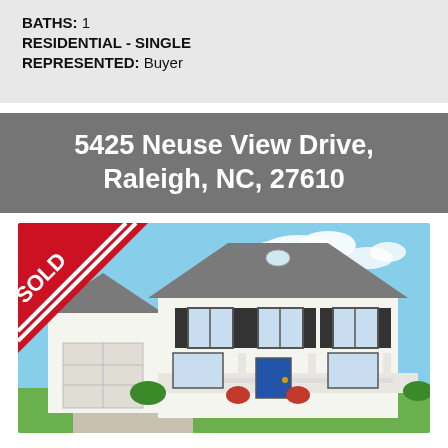BATHS: 1
RESIDENTIAL - SINGLE
REPRESENTED: Buyer
5425 Neuse View Drive, Raleigh, NC, 27610
[Figure (photo): Front exterior photo of a two-story white colonial-style house with a covered front porch, attached garage, dark shutters, blue front door, and American flag. A red SOLD diagonal banner is overlaid in the top-left corner.]